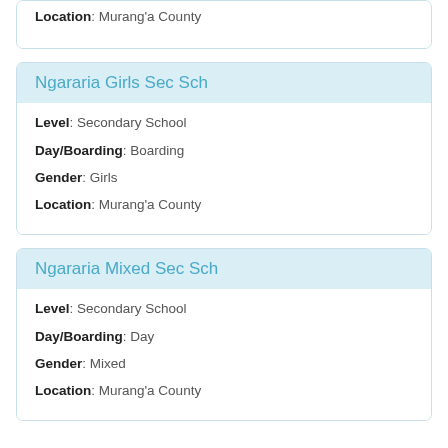Location: Murang'a County
Ngararia Girls Sec Sch
Level: Secondary School
Day/Boarding: Boarding
Gender: Girls
Location: Murang'a County
Ngararia Mixed Sec Sch
Level: Secondary School
Day/Boarding: Day
Gender: Mixed
Location: Murang'a County